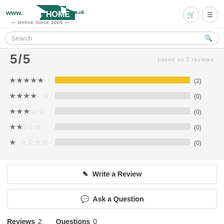[Figure (logo): AV4HOME logo with house icon and 'www.AV4HOME.co.uk - Online Since 2005 -' text]
Search
5/5  based on 2 reviews
[Figure (bar-chart): Star rating breakdown]
✎  Write a Review
💬  Ask a Question
Reviews  2      Questions  0